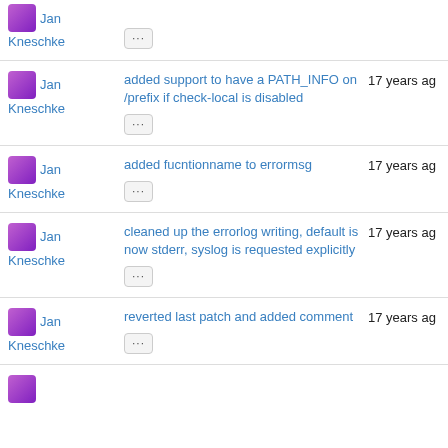Jan Kneschke — ... — 17 years ago (partial, top cut off)
Jan Kneschke — added support to have a PATH_INFO on /prefix if check-local is disabled — 17 years ago
Jan Kneschke — added fucntionname to errormsg — 17 years ago
Jan Kneschke — cleaned up the errorlog writing, default is now stderr, syslog is requested explicitly — 17 years ago
Jan Kneschke — reverted last patch and added comment — 17 years ago
Jan Kneschke (partial, bottom cut off)